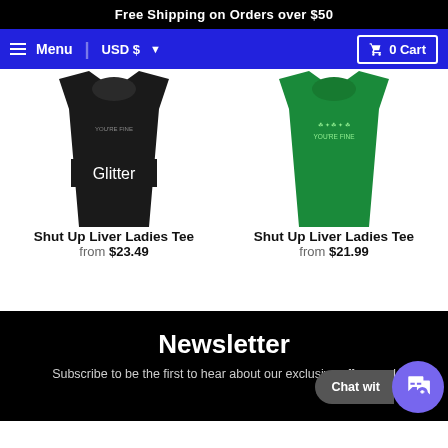Free Shipping on Orders over $50
Menu  USD$  0 Cart
[Figure (photo): Black ladies tee with 'Glitter' text, showing 'YOU'RE FINE' graphic]
Shut Up Liver Ladies Tee
from $23.49
[Figure (photo): Green ladies tee with 'YOU'RE FINE' graphic]
Shut Up Liver Ladies Tee
from $21.99
Newsletter
Subscribe to be the first to hear about our exclusive offers and